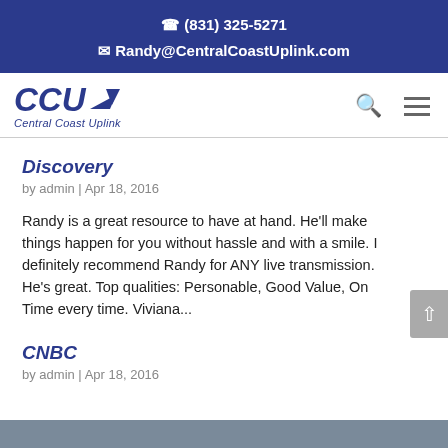(831) 325-5271
Randy@CentralCoastUplink.com
[Figure (logo): CCU Central Coast Uplink logo with italic bold text and arrow graphic]
Discovery
by admin | Apr 18, 2016
Randy is a great resource to have at hand. He'll make things happen for you without hassle and with a smile. I definitely recommend Randy for ANY live transmission. He's great. Top qualities: Personable, Good Value, On Time every time. Viviana...
CNBC
by admin | Apr 18, 2016